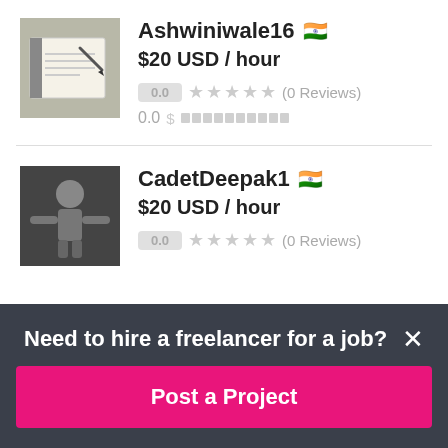[Figure (photo): Profile photo of Ashwiniwale16 showing a notebook with a pen]
Ashwiniwale16 🇮🇳
$20 USD / hour
0.0 ★★★★★ (0 Reviews)
0.0 $ ██████████
[Figure (photo): Profile photo of CadetDeepak1 showing a person with arms spread]
CadetDeepak1 🇮🇳
$20 USD / hour
0.0 ★★★★★ (0 Reviews)
Need to hire a freelancer for a job?
Post a Project